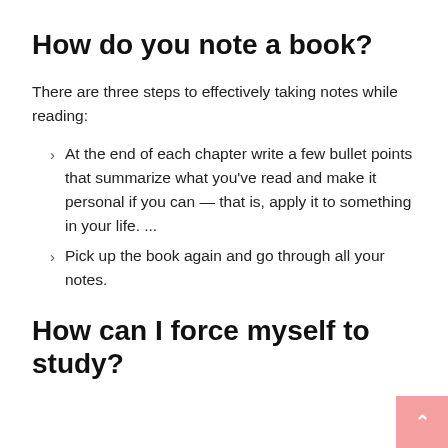How do you note a book?
There are three steps to effectively taking notes while reading:
At the end of each chapter write a few bullet points that summarize what you've read and make it personal if you can — that is, apply it to something in your life. ...
Pick up the book again and go through all your notes.
How can I force myself to study?